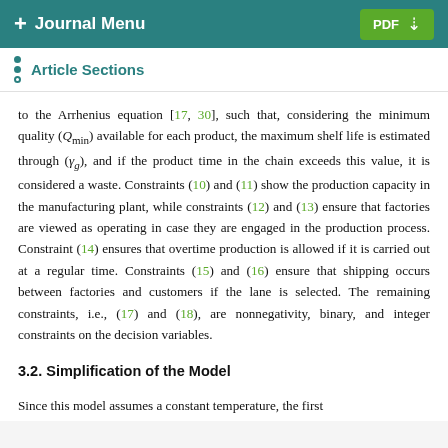+ Journal Menu | PDF ↓
Article Sections
to the Arrhenius equation [17, 30], such that, considering the minimum quality (Q_min) available for each product, the maximum shelf life is estimated through (γ_g), and if the product time in the chain exceeds this value, it is considered a waste. Constraints (10) and (11) show the production capacity in the manufacturing plant, while constraints (12) and (13) ensure that factories are viewed as operating in case they are engaged in the production process. Constraint (14) ensures that overtime production is allowed if it is carried out at a regular time. Constraints (15) and (16) ensure that shipping occurs between factories and customers if the lane is selected. The remaining constraints, i.e., (17) and (18), are nonnegativity, binary, and integer constraints on the decision variables.
3.2. Simplification of the Model
Since this model assumes a constant temperature, the first